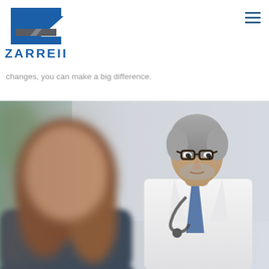[Figure (logo): Zarreii company logo with stylized Z graphic in blue and gray]
ZARREII
changes, you can make a big difference.
[Figure (photo): A male doctor with gray hair and glasses wearing a white coat and stethoscope, consulting with a female patient whose back is to the camera]